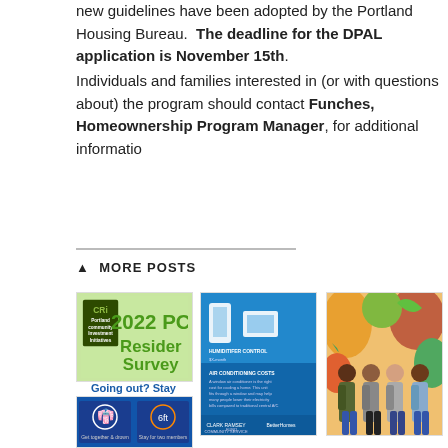new guidelines have been adopted by the Portland Housing Bureau. The deadline for the DPAL application is November 15th.
Individuals and families interested in (or with questions about) the program should contact Funches, Homeownership Program Manager, for additional information.
MORE POSTS
[Figure (photo): 2022 PCRI Resident Survey flyer on green background with logo]
Going out? Stay apart.
[Figure (infographic): Blue infographic about air purifiers and air conditioning units from Clark Ramsey Community Service Fund]
[Figure (photo): Group of four women standing in front of colorful mural]
[Figure (infographic): COVID-19 social distancing infographic with icons]